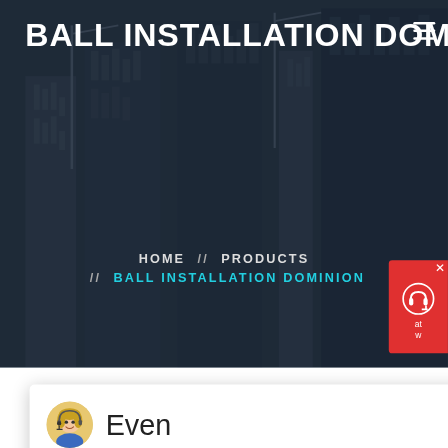BALL INSTALLATION DOMINION
HOME // PRODUCTS // BALL INSTALLATION DOMINION
[Figure (screenshot): Chat popup with avatar of agent named Even saying: Hello, I am Even, I am very glad to talk with you!]
Latest Projects
[Figure (photo): Industrial machinery in a factory setting]